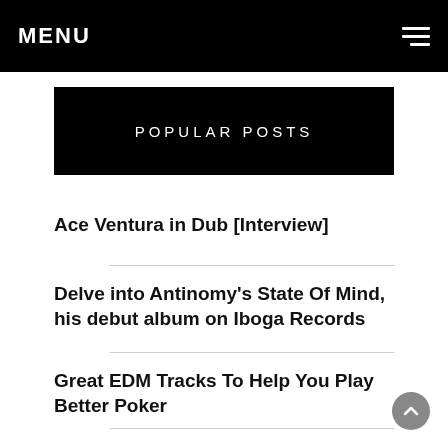MENU
POPULAR POSTS
Ace Ventura in Dub [Interview]
Delve into Antinomy's State Of Mind, his debut album on Iboga Records
Great EDM Tracks To Help You Play Better Poker